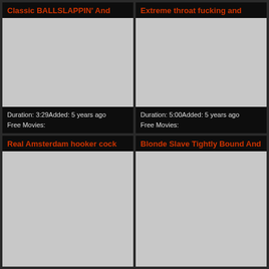Classic BALLSLAPPIN' And
[Figure (photo): Video thumbnail placeholder (gray rectangle)]
Duration: 3:29Added: 5 years ago
Free Movies:
Extreme throat fucking and
[Figure (photo): Video thumbnail placeholder (gray rectangle)]
Duration: 5:00Added: 5 years ago
Free Movies:
Real Amsterdam hooker cock
[Figure (photo): Video thumbnail placeholder (gray rectangle)]
Blonde Slave Tightly Bound And
[Figure (photo): Video thumbnail placeholder (gray rectangle)]